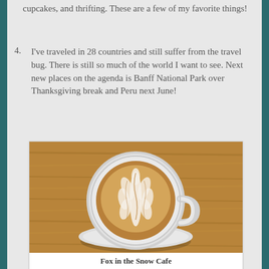cupcakes, and thrifting.  These are a few of my favorite things!
4. I've traveled in 28 countries and still suffer from the travel bug.  There is still so much of the world I want to see.  Next new places on the agenda is Banff National Park over Thanksgiving break and Peru next June!
[Figure (photo): Overhead view of a latte art coffee in a white ceramic cup and saucer on a wooden table. The latte art shows a leaf/rosette pattern in the foam.]
Fox in the Snow Cafe